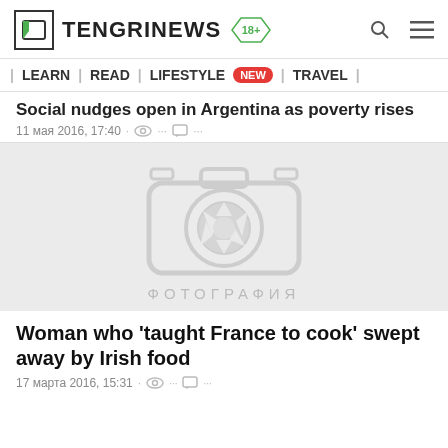TENGRINEWS 18+
| LEARN | READ | LIFESTYLE NEW | TRAVEL |
Social nudges open in Argentina as poverty rises
11 мая 2016, 17:40
[Figure (photo): Placeholder image with camera icon and text ФОТОГРАФИЯ on grey background]
Woman who 'taught France to cook' swept away by Irish food
17 марта 2016, 15:31